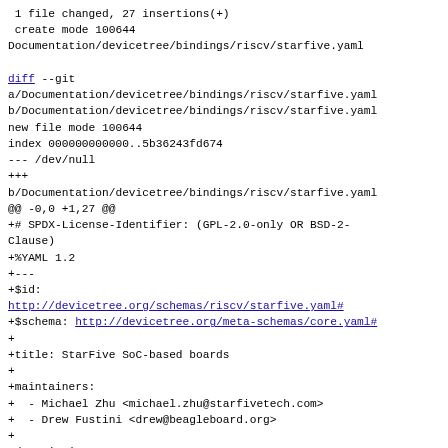1 file changed, 27 insertions(+)
 create mode 100644 Documentation/devicetree/bindings/riscv/starfive.yaml
diff --git a/Documentation/devicetree/bindings/riscv/starfive.yaml b/Documentation/devicetree/bindings/riscv/starfive.yaml
new file mode 100644
index 000000000000..5b36243fd674
--- /dev/null
+++
b/Documentation/devicetree/bindings/riscv/starfive.yaml
@@ -0,0 +1,27 @@
+# SPDX-License-Identifier: (GPL-2.0-only OR BSD-2-Clause)
+%YAML 1.2
+---
+$id:
http://devicetree.org/schemas/riscv/starfive.yaml#
+$schema: http://devicetree.org/meta-schemas/core.yaml#
+
+title: StarFive SoC-based boards
+
+maintainers:
+  - Michael Zhu <michael.zhu@starfivetech.com>
+  - Drew Fustini <drew@beagleboard.org>
+
+description:
+  StarFive SoC-based boards
+